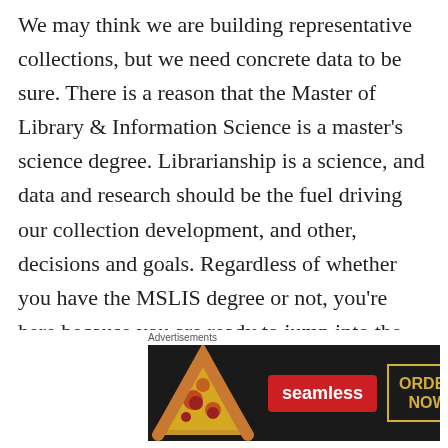We may think we are building representative collections, but we need concrete data to be sure. There is a reason that the Master of Library & Information Science is a master's science degree. Librarianship is a science, and data and research should be the fuel driving our collection development, and other, decisions and goals. Regardless of whether you have the MSLIS degree or not, you're here because you are ready to jump into the science of a diversity audit. Yay! So let's get to it.
[Figure (other): Advertisement banner for Seamless food delivery service featuring pizza image on the left, a red Seamless logo button in the center, and an 'ORDER NOW' button on the right against a dark background. Labeled 'Advertisements' above.]